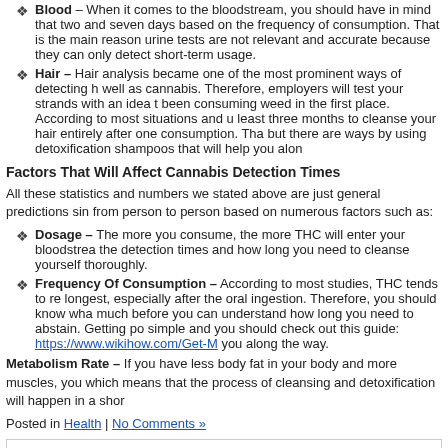Blood – When it comes to the bloodstream, you should have in mind that two and seven days based on the frequency of consumption. That is the main reason urine tests are not relevant and accurate because they can only detect short-term usage.
Hair – Hair analysis became one of the most prominent ways of detecting heroin as well as cannabis. Therefore, employers will test your strands with an idea to determine if you have been consuming weed in the first place. According to most situations and users, it will take at least three months to cleanse your hair entirely after one consumption. That seems like a lot, but there are ways by using detoxification shampoos that will help you along the way.
Factors That Will Affect Cannabis Detection Times
All these statistics and numbers we stated above are just general predictions since it varies from person to person based on numerous factors such as:
Dosage – The more you consume, the more THC will enter your bloodstream, which will increase the detection times and how long you need to cleanse yourself thoroughly.
Frequency Of Consumption – According to most studies, THC tends to remain in the body the longest, especially after the oral ingestion. Therefore, you should know what you are consuming and how much before you can understand how long you need to abstain. Getting pot out of your system is simple and you should check out this guide: https://www.wikihow.com/Get-Marijuana-Out-of-Your-System you along the way.
Metabolism Rate – If you have less body fat in your body and more muscles, you will have higher metabolism, which means that the process of cleansing and detoxification will happen in a shorter time.
Posted in Health | No Comments »
Tips That Will Help You Find The Best
June 27, 2019 | Author Justin
Tips That Will Help You Find The Best Makeup Artist